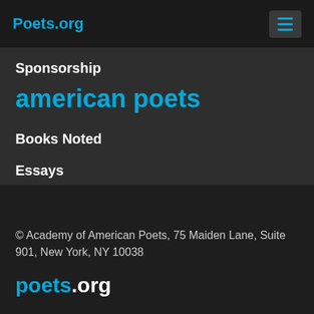Poets.org
Sponsorship
american poets
Books Noted
Essays
Advertise
© Academy of American Poets, 75 Maiden Lane, Suite 901, New York, NY 10038
poets.org